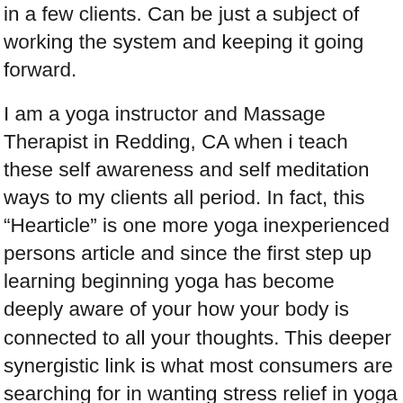in a few clients. Can be just a subject of working the system and keeping it going forward.
I am a yoga instructor and Massage Therapist in Redding, CA when i teach these self awareness and self meditation ways to my clients all period. In fact, this “Hearticle” is one more yoga inexperienced persons article and since the first step up learning beginning yoga has become deeply aware of your how your body is connected to all your thoughts. This deeper synergistic link is what most consumers are searching for in wanting stress relief in yoga poses. So the first step in my massage practice end up being give each client a mini yoga class on how to meditate into their heart. Are you able to meditate in yours and employ your breath for the internal massage of your heart? Circumstance . you also can.